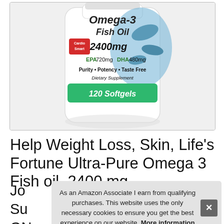[Figure (photo): Omega-3 Fish Oil supplement bottle labeled: Omega-3 Fish Oil 2400mg, EPA 720mg DHA 480mg, Purity • Potency • Taste Free, Dietary Supplement, 120 Softgels, with a Cardio Smart heart logo and fish imagery]
Help Weight Loss, Skin, Life's Fortune Ultra-Pure Omega 3 Fish oil, 2400 mg,
Jo Su GN
As an Amazon Associate I earn from qualifying purchases. This website uses the only necessary cookies to ensure you get the best experience on our website. More information